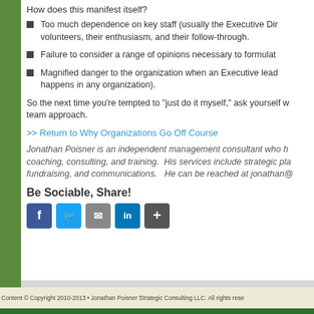How does this manifest itself?
Too much dependence on key staff (usually the Executive Dir... volunteers, their enthusiasm, and their follow-through.
Failure to consider a range of opinions necessary to formulat...
Magnified danger to the organization when an Executive lead... happens in any organization).
So the next time you're tempted to “just do it myself,” ask yourself w... team approach.
>> Return to Why Organizations Go Off Course
Jonathan Poisner is an independent management consultant who h... coaching, consulting, and training.  His services include strategic pla... fundraising, and communications.   He can be reached at jonathan@...
Be Sociable, Share!
Content © Copyright 2010-2013 • Jonathan Poisner Strategic Consulting LLC. All rights rese...